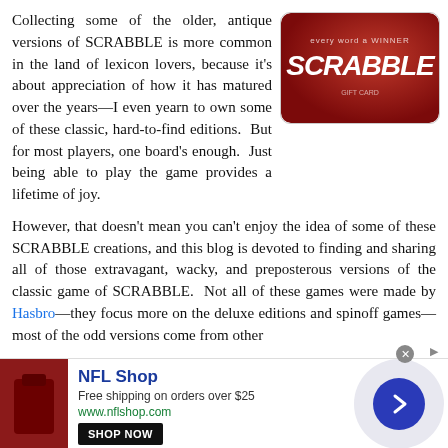Collecting some of the older, antique versions of SCRABBLE is more common in the land of lexicon lovers, because it's about appreciation of how it has matured over the years—I even yearn to own some of these classic, hard-to-find editions.  But for most players, one board's enough.  Just being able to play the game provides a lifetime of joy.
[Figure (photo): Red Scrabble gift card with white SCRABBLE logo and tagline 'every word a winner']
However, that doesn't mean you can't enjoy the idea of some of these SCRABBLE creations, and this blog is devoted to finding and sharing all of those extravagant, wacky, and preposterous versions of the classic game of SCRABBLE.  Not all of these games were made by Hasbro—they focus more on the deluxe editions and spinoff games—most of the odd versions come from other
[Figure (screenshot): NFL Shop advertisement banner with red product image, NFL Shop title, 'Free shipping on orders over $25', www.nflshop.com, SHOP NOW button, and a blue arrow circle on lavender background]